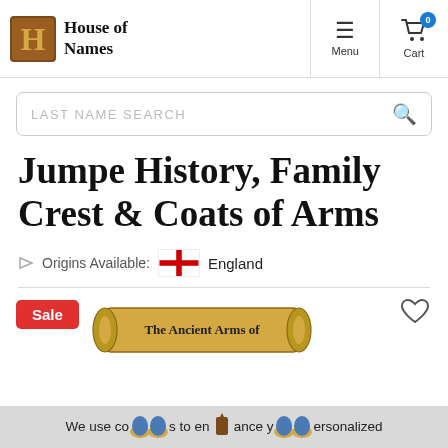House of Names — Menu | Cart (0)
LAST NAME SEARCH
Jumpe History, Family Crest & Coats of Arms
Origins Available: England
[Figure (illustration): Sale badge, The Ancient Arms of scroll illustration, and heart/wishlist icon]
We use cookies to enhance your personalized